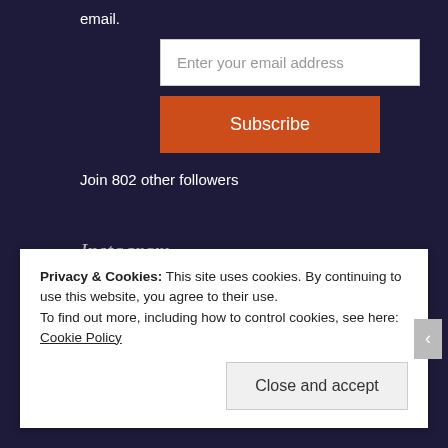email.
[Figure (screenshot): Email input field with placeholder text 'Enter your email address']
[Figure (screenshot): Orange Subscribe button]
Join 802 other followers
Instagram
No Instagram images were found.
Privacy & Cookies: This site uses cookies. By continuing to use this website, you agree to their use.
To find out more, including how to control cookies, see here: Cookie Policy
Close and accept